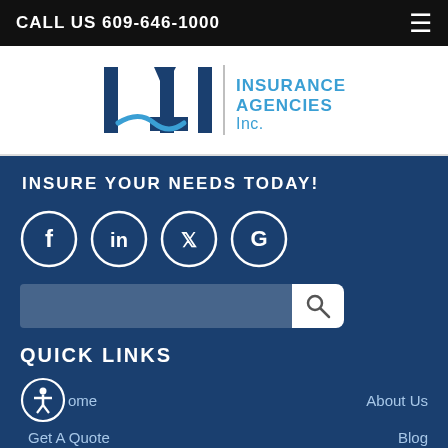CALL US 609-646-1000
[Figure (logo): IAI Insurance Agencies Inc. logo with stylized letters and wave graphic]
INSURE YOUR NEEDS TODAY!
[Figure (infographic): Social media icons: Facebook, LinkedIn, Twitter, Google in white circles on dark blue background]
[Figure (other): Search bar with magnifying glass button]
QUICK LINKS
Home
About Us
Get A Quote
Blog